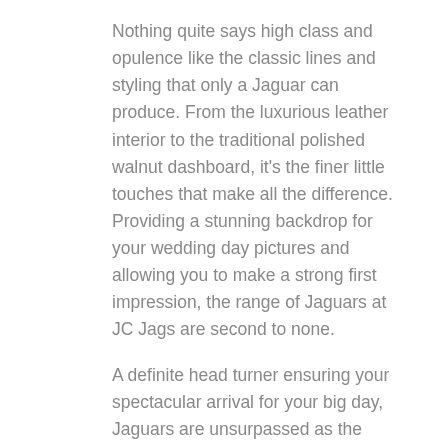Nothing quite says high class and opulence like the classic lines and styling that only a Jaguar can produce. From the luxurious leather interior to the traditional polished walnut dashboard, it’s the finer little touches that make all the difference. Providing a stunning backdrop for your wedding day pictures and allowing you to make a strong first impression, the range of Jaguars at JC Jags are second to none.
A definite head turner ensuring your spectacular arrival for your big day, Jaguars are unsurpassed as the leaders in style and comfort.  With easy access, large spacious cabin, and smooth comfortable ride your choice of a Jaguar Wedding Car Hire will be a smart one.
The exteriors are finished with low slung curves that go forever and smooth body lines that are timeless.
To view the entire range please feel free to click here.
We have 100’s of satisfied clients that utilize our